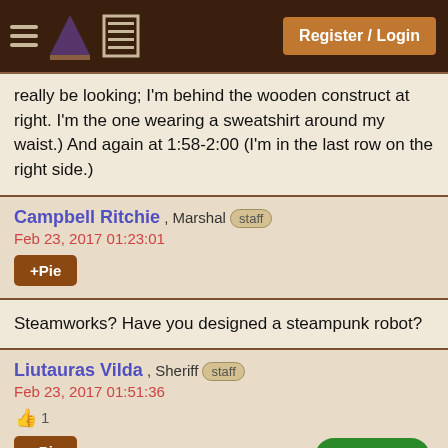Register / Login
really be looking; I'm behind the wooden construct at right. I'm the one wearing a sweatshirt around my waist.) And again at 1:58-2:00 (I'm in the last row on the right side.)
Campbell Ritchie , Marshal staff
Feb 23, 2017 01:23:01
+Pie
Steamworks? Have you designed a steampunk robot?
Liutauras Vilda , Sheriff staff
Feb 23, 2017 01:51:36
1
+Pie
reply